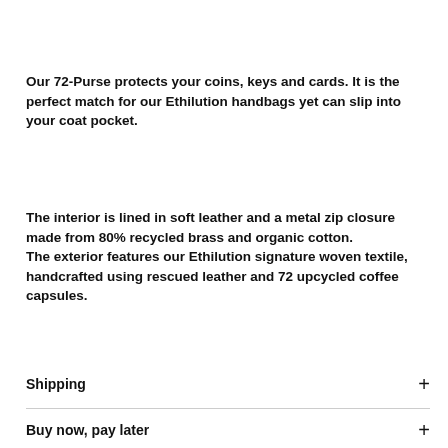Our 72-Purse protects your coins, keys and cards. It is the perfect match for our Ethilution handbags yet can slip into your coat pocket.
The interior is lined in soft leather and a metal zip closure made from 80% recycled brass and organic cotton.
The exterior features our Ethilution signature woven textile, handcrafted using rescued leather and 72 upcycled coffee capsules.
Shipping
Buy now, pay later